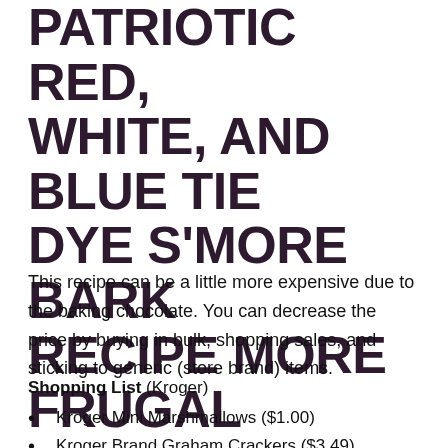TIPS TO MAKE THIS PATRIOTIC RED, WHITE, AND BLUE TIE DYE S'MORE BARK RECIPE MORE FRUGAL
This recipe can be a little more expensive due to the baking chocolate. You can decrease the price by buying in bulk, shopping sales, and sticking to generic (store brand) items.
Shopping List (Kroger)
Kroger Mini Marshmallows ($1.00)
Kroger Brand Graham Crackers ($3.49)